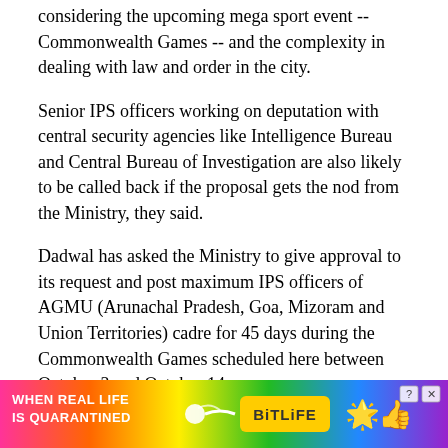considering the upcoming mega sport event -- Commonwealth Games -- and the complexity in dealing with law and order in the city.
Senior IPS officers working on deputation with central security agencies like Intelligence Bureau and Central Bureau of Investigation are also likely to be called back if the proposal gets the nod from the Ministry, they said.
Dadwal has asked the Ministry to give approval to its request and post maximum IPS officers of AGMU (Arunachal Pradesh, Goa, Mizoram and Union Territories) cadre for 45 days during the Commonwealth Games scheduled here between October 3 and October 14.
Currently, about 50 IPS officers from the level of Assistant Commissioners of Police to Special Commissioners of Police are working with different departments of Delhi Police.
The total cadre strength in Delhi includes 21 posts at the level of Superintendent of Police (SP), 10 Deputy Inspector General (DIG), 14 Inspector General (IG), three Additional Director
[Figure (infographic): Advertisement banner for BitLife mobile game with rainbow gradient background, text 'WHEN REAL LIFE IS QUARANTINED' on left, arrow/sperm icon in middle, BitLife logo in yellow, and emoji icons on right.]